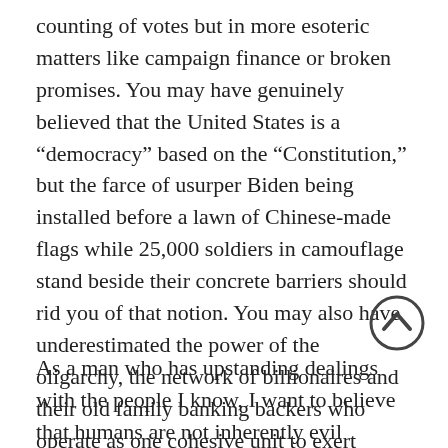counting of votes but in more esoteric matters like campaign finance or broken promises. You may have genuinely believed that the United States is a “democracy” based on the “Constitution,” but the farce of usurper Biden being installed before a lawn of Chinese-made flags while 25,000 soldiers in camouflage stand beside their concrete barriers should rid you of that notion. You may also have underestimated the power of the oligarchy, the network of billionaires and their old family banking backers who operate as one cohesive unit to exert control over you, first through persuasion and influence, and when that no longer works, through sheer might alone. I’m sure you can now feel their boot on your face. It was always there, but the material on the sole was a luxurious felt instead of the stiff rubber it has transformed into. I think it’s going to leave a mark.
As a man who has upstanding dealings with the people I know, I want to believe that humans are not inherently evil